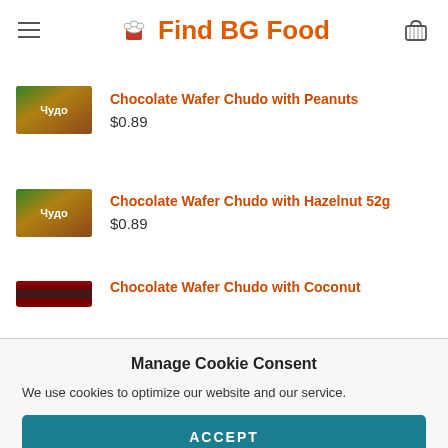Find BG Food
Chocolate Wafer Chudo with Peanuts $0.89
Chocolate Wafer Chudo with Hazelnut 52g $0.89
Chocolate Wafer Chudo with Coconut
Manage Cookie Consent
We use cookies to optimize our website and our service.
ACCEPT
Cookie Policy   Privacy Policy